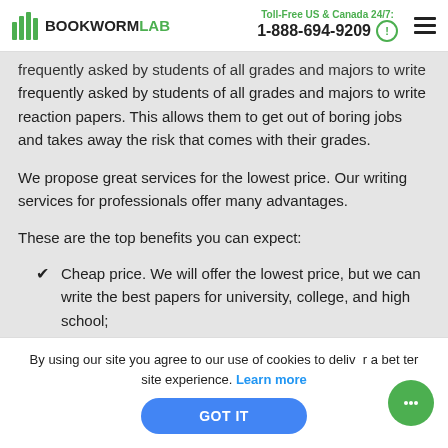BOOKWORMLAB | Toll-Free US & Canada 24/7: 1-888-694-9209
frequently asked by students of all grades and majors to write reaction papers. This allows them to get out of boring jobs and takes away the risk that comes with their grades.
We propose great services for the lowest price. Our writing services for professionals offer many advantages.
These are the top benefits you can expect:
Cheap price. We will offer the lowest price, but we can write the best papers for university, college, and high school;
By using our site you agree to our use of cookies to deliver a better site experience. Learn more
GOT IT